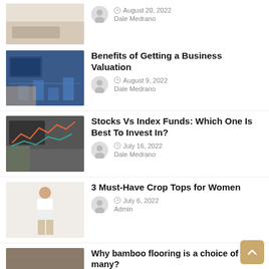[Figure (photo): Top partial article row: thumbnail of room with rug and sofa, author Dale Medrano, date August 20, 2022]
August 20, 2022
Dale Medrano
Benefits of Getting a Business Valuation
August 9, 2022
Dale Medrano
Stocks Vs Index Funds: Which One Is Best To Invest In?
July 16, 2022
Dale Medrano
3 Must-Have Crop Tops for Women
July 6, 2022
Admin
Why bamboo flooring is a choice of many?